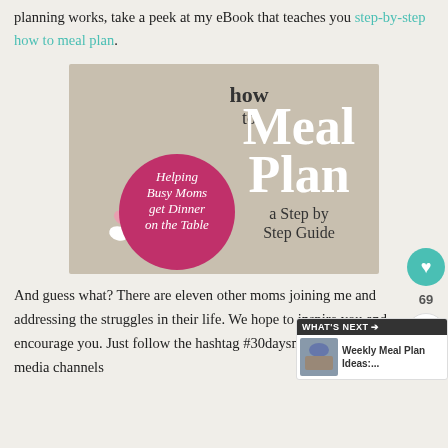planning works, take a peek at my eBook that teaches you step-by-step how to meal plan.
[Figure (illustration): Book cover for 'How to Meal Plan: a Step by Step Guide' - Helping Busy Moms get Dinner on the Table. Features colorful utensils (spoons, forks) arranged in a fan pattern on a tan/beige background with a pink circle containing italic text.]
And guess what? There are eleven other moms joining me and addressing the struggles in their life. We hope to inspire you and encourage you. Just follow the hashtag #30daysmore on our social media channels